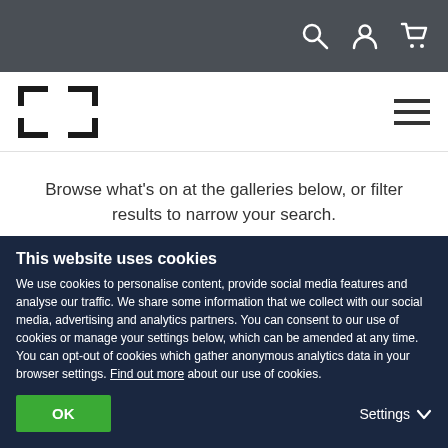[Figure (screenshot): Top navigation bar with dark background showing search, user, and cart icons]
[Figure (logo): Website logo (square bracket / frame icon) and hamburger menu icon]
Browse what's on at the galleries below, or filter results to narrow your search.
What
Exhibitions, Displays, Conferences & co...
This website uses cookies
We use cookies to personalise content, provide social media features and analyse our traffic. We share some information that we collect with our social media, advertising and analytics partners. You can consent to our use of cookies or manage your settings below, which can be amended at any time. You can opt-out of cookies which gather anonymous analytics data in your browser settings. Find out more about our use of cookies.